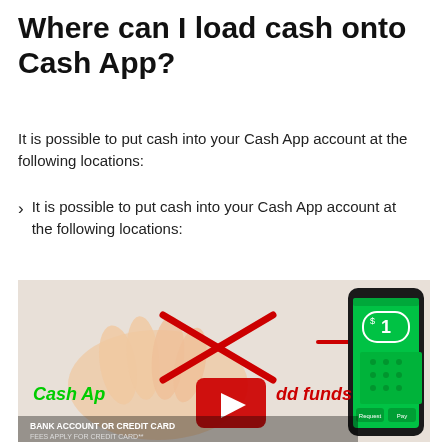Where can I load cash onto Cash App?
It is possible to put cash into your Cash App account at the following locations:
It is possible to put cash into your Cash App account at the following locations:
[Figure (screenshot): YouTube video thumbnail showing a hand near a smartphone displaying Cash App with a green screen showing $1, a red X drawn over the hand, a red arrow pointing to the phone, a YouTube play button in the center, green text 'Cash App add funds', and white text at bottom 'BANK ACCOUNT OR CREDIT CARD / FEES APPLY FOR CREDIT CARD**']